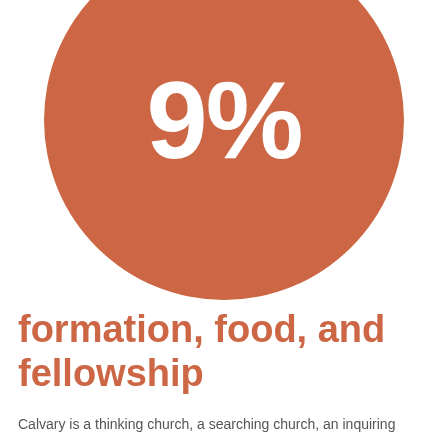[Figure (infographic): Large orange/terracotta circle with white bold text '9%' centered inside it]
formation, food, and fellowship
Calvary is a thinking church, a searching church, an inquiring